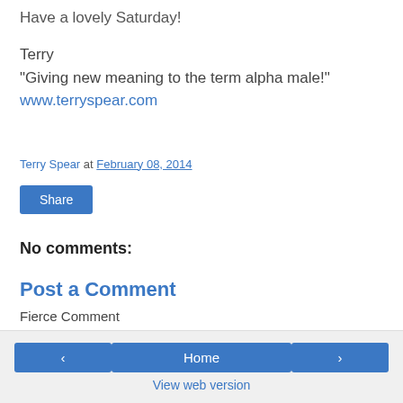Have a lovely Saturday!
Terry
"Giving new meaning to the term alpha male!"
www.terryspear.com
Terry Spear at February 08, 2014
Share
No comments:
Post a Comment
Fierce Comment
‹  Home  ›  View web version